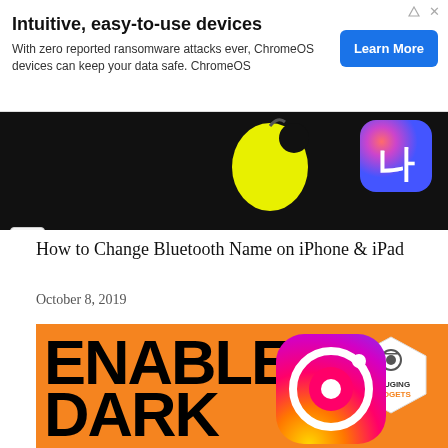[Figure (screenshot): Advertisement banner for ChromeOS with title 'Intuitive, easy-to-use devices', body text about ransomware protection, and a blue 'Learn More' button]
[Figure (screenshot): Partially visible image strip showing Apple logo on black background and a colorful app icon with Korean character]
How to Change Bluetooth Name on iPhone & iPad
October 8, 2019
[Figure (screenshot): Orange thumbnail image reading 'ENABLE DARK MODE' in large bold text with Gauging Gadgets hexagon badge and Instagram logo]